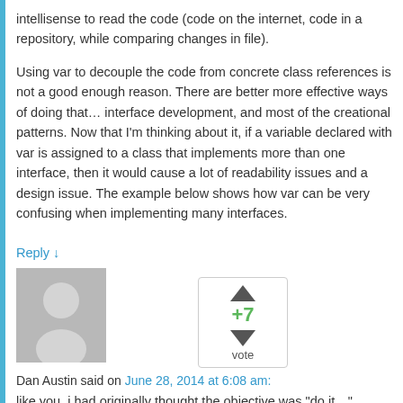intellisense to read the code (code on the internet, code in a repository, while comparing changes in file).
Using var to decouple the code from concrete class references is not a good enough reason. There are better more effective ways of doing that… interface development, and most of the creational patterns. Now that I'm thinking about it, if a variable declared with var is assigned to a class that implements more than one interface, then it would cause a lot of readability issues and a design issue. The example below shows how var can be very confusing when implementing many interfaces.
Reply ↓
[Figure (illustration): Gray placeholder avatar with silhouette of a person (circle head, oval body) on a gray background]
+7 vote (upvote/downvote widget)
Dan Austin said on June 28, 2014 at 6:08 am:
like you, i had originally thought the objective was "do it…"